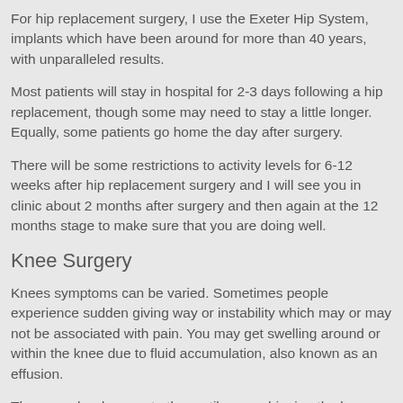For hip replacement surgery, I use the Exeter Hip System, implants which have been around for more than 40 years, with unparalleled results.
Most patients will stay in hospital for 2-3 days following a hip replacement, though some may need to stay a little longer. Equally, some patients go home the day after surgery.
There will be some restrictions to activity levels for 6-12 weeks after hip replacement surgery and I will see you in clinic about 2 months after surgery and then again at the 12 months stage to make sure that you are doing well.
Knee Surgery
Knees symptoms can be varied. Sometimes people experience sudden giving way or instability which may or may not be associated with pain. You may get swelling around or within the knee due to fluid accumulation, also known as an effusion.
There can be damage to the cartilage cushioning the knee (meniscus) or wear and tear of the cartilage covering the joint surfaces which can result in arthritis. Fluid accumulating within the joint can be the result of injury or irritation indicating